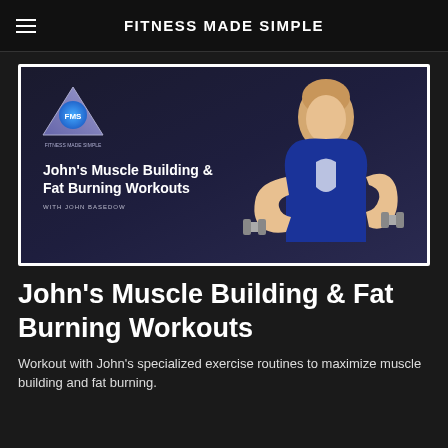FITNESS MADE SIMPLE
[Figure (illustration): Promotional image for John's Muscle Building & Fat Burning Workouts featuring a muscular man in a blue sleeveless shirt holding dumbbells, with the FMS (Fitness Made Simple) triangle logo, workout title text, and 'WITH JOHN BASEDOW' subtitle]
John's Muscle Building & Fat Burning Workouts
Workout with John's specialized exercise routines to maximize muscle building and fat burning.